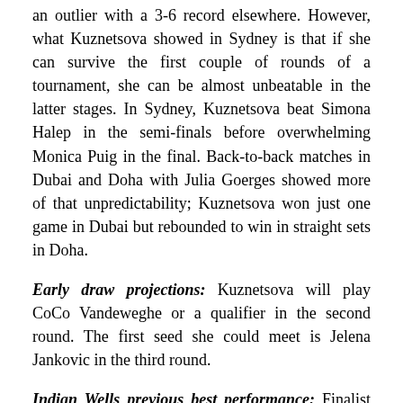an outlier with a 3-6 record elsewhere. However, what Kuznetsova showed in Sydney is that if she can survive the first couple of rounds of a tournament, she can be almost unbeatable in the latter stages. In Sydney, Kuznetsova beat Simona Halep in the semi-finals before overwhelming Monica Puig in the final. Back-to-back matches in Dubai and Doha with Julia Goerges showed more of that unpredictability; Kuznetsova won just one game in Dubai but rebounded to win in straight sets in Doha.
Early draw projections: Kuznetsova will play CoCo Vandeweghe or a qualifier in the second round. The first seed she could meet is Jelena Jankovic in the third round.
Indian Wells previous best performance: Finalist in 2007 and 2008